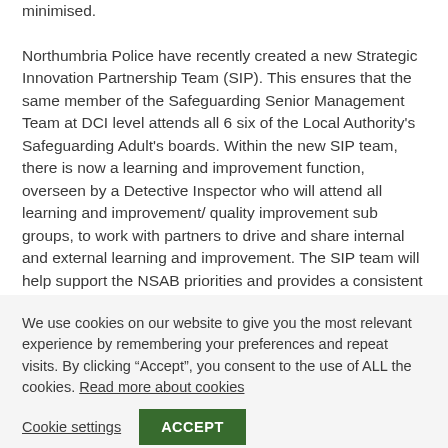minimised. Northumbria Police have recently created a new Strategic Innovation Partnership Team (SIP). This ensures that the same member of the Safeguarding Senior Management Team at DCI level attends all 6 six of the Local Authority's Safeguarding Adult's boards. Within the new SIP team, there is now a learning and improvement function, overseen by a Detective Inspector who will attend all learning and improvement/ quality improvement sub groups, to work with partners to drive and share internal and external learning and improvement. The SIP team will help support the NSAB priorities and provides a consistent and innovative approach to Safeguarding and the
We use cookies on our website to give you the most relevant experience by remembering your preferences and repeat visits. By clicking “Accept”, you consent to the use of ALL the cookies. Read more about cookies
Cookie settings
ACCEPT